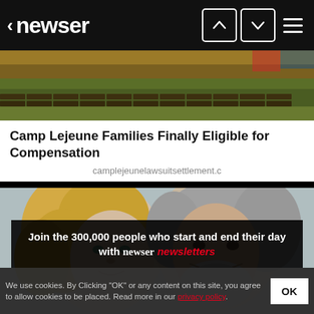newser
[Figure (photo): Outdoor scene with ground, dirt, and green vegetation in background]
Camp Lejeune Families Finally Eligible for Compensation
camplejeunelawsuitsettlement.c
[Figure (photo): Two people smiling, a blonde woman and an older man with grey beard, close portrait photo]
Join the 300,000 people who start and end their day with newser newsletters
We use cookies. By Clicking "OK" or any content on this site, you agree to allow cookies to be placed. Read more in our privacy policy.